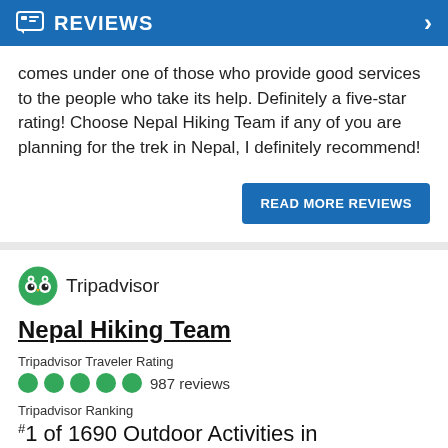REVIEWS
comes under one of those who provide good services to the people who take its help. Definitely a five-star rating! Choose Nepal Hiking Team if any of you are planning for the trek in Nepal, I definitely recommend!
READ MORE REVIEWS
[Figure (logo): Tripadvisor logo with owl icon]
Nepal Hiking Team
Tripadvisor Traveler Rating
987 reviews
Tripadvisor Ranking
#1 of 1690 Outdoor Activities in Kathmandu
Recent Traveler Reviews
“AMAZING!”
“Great trip with Santosh”